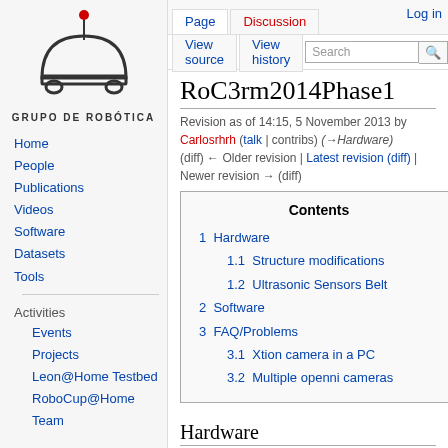[Figure (logo): Grupo de Robótica logo: a robot silhouette (dome-shaped body with antenna topped by red dot, two small wheels) with text GRUPO DE ROBÓTICA below]
Log in
Page | Discussion | View source | View history | Search
RoC3rm2014Phase1
Revision as of 14:15, 5 November 2013 by Carlosrhrh (talk | contribs) (→Hardware) (diff) ← Older revision | Latest revision (diff) | Newer revision → (diff)
Home
People
Publications
Videos
Software
Datasets
Tools
Events
Projects
Leon@Home Testbed
RoboCup@Home Team
| Contents |
| --- |
| 1  Hardware |
| 1.1  Structure modifications |
| 1.2  Ultrasonic Sensors Belt |
| 2  Software |
| 3  FAQ/Problems |
| 3.1  Xtion camera in a PC |
| 3.2  Multiple openni cameras |
Hardware